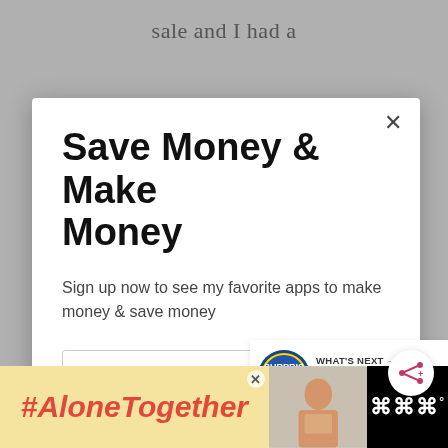sale and I had a
Save Money & Make Money
Sign up now to see my favorite apps to make money & save money
Email address
Get It Now
WHAT'S NEXT → 20 Mule Team Borax: 18…
#AloneTogether